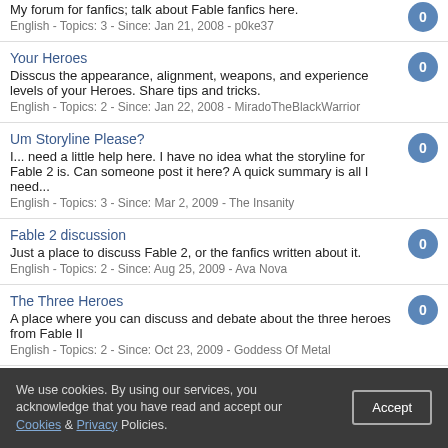My forum for fanfics; talk about Fable fanfics here.
English - Topics: 3 - Since: Jan 21, 2008 - p0ke37
Your Heroes
Disscus the appearance, alignment, weapons, and experience levels of your Heroes. Share tips and tricks.
English - Topics: 2 - Since: Jan 22, 2008 - MiradoTheBlackWarrior
Um Storyline Please?
I... need a little help here. I have no idea what the storyline for Fable 2 is. Can someone post it here? A quick summary is all I need...
English - Topics: 3 - Since: Mar 2, 2009 - The Insanity
Fable 2 discussion
Just a place to discuss Fable 2, or the fanfics written about it.
English - Topics: 2 - Since: Aug 25, 2009 - Ava Nova
The Three Heroes
A place where you can discuss and debate about the three heroes from Fable II
English - Topics: 2 - Since: Oct 23, 2009 - Goddess Of Metal
28 Page 1 2 Next »
Sort by: Relevance   Language: All   Go
We use cookies. By using our services, you acknowledge that you have read and accept our Cookies & Privacy Policies.